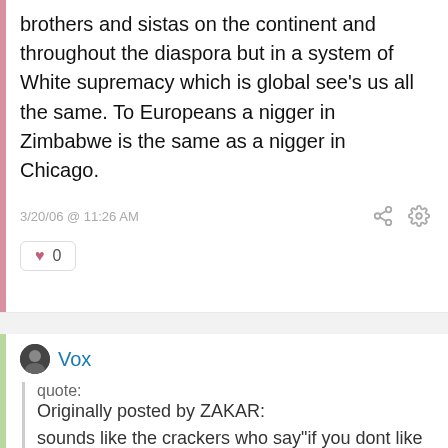brothers and sistas on the continent and throughout the diaspora but in a system of White supremacy which is global see's us all the same. To Europeans a nigger in Zimbabwe is the same as a nigger in Chicago.
3/20/06 @ 11:26 AM
0
Vox
quote:
Originally posted by ZAKAR:
sounds like the crackers who say"if you dont like it here go back to africa" fuck that I will talk shyt about this country and will take advantage of this bullshyt citizenship and use